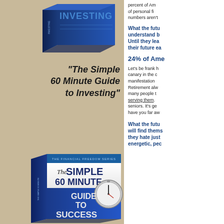[Figure (illustration): Top book cover showing 'INVESTING' title in blue]
"The Simple 60 Minute Guide to Investing"
[Figure (illustration): Book cover of 'The Simple 60 Minute Guide to Success' from The Financial Freedom Series, featuring a stopwatch graphic]
percent of Am of personal fi numbers aren't
What the futu understand b Until they lea their future ea
24% of Ame
Let's be frank h canary in the c manifestation Retirement alw many people t serving them. seniors. It's ge have you far aw
What the futu will find thems they hate just energetic, pec